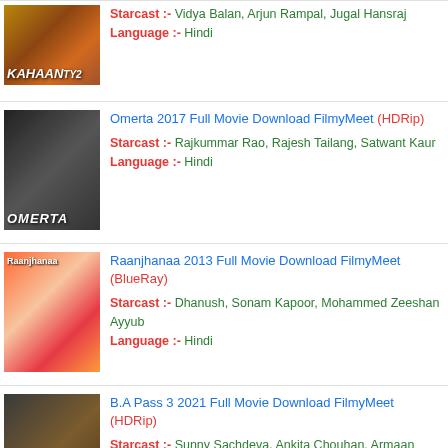Kahani 2 Full Movie Download FilmyMeet (HDRip) Starcast :- Vidya Balan, Arjun Rampal, Jugal Hansraj Language :- Hindi
Omerta 2017 Full Movie Download FilmyMeet (HDRip) Starcast :- Rajkummar Rao, Rajesh Tailang, Satwant Kaur Language :- Hindi
Raanjhanaa 2013 Full Movie Download FilmyMeet (BlueRay) Starcast :- Dhanush, Sonam Kapoor, Mohammed Zeeshan Ayyub Language :- Hindi
B.A Pass 3 2021 Full Movie Download FilmyMeet (HDRip) Starcast :- Sunny Sachdeva, Ankita Chouhan, Armaan Sandhu, Language :- Hindi
Aatma 2013 Full Movie Download FilmyMeet (HDRip) Starcast :- Jaideen Ahlawat, Bipasha Basu, Padam Bhola